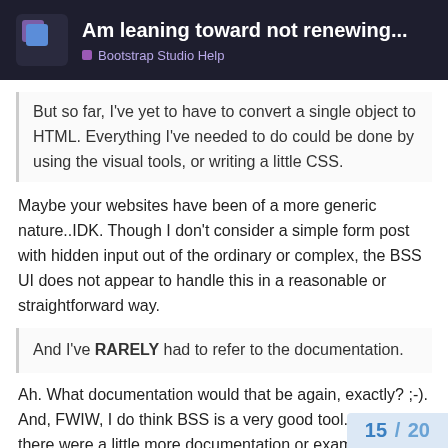Am leaning toward not renewing... | Bootstrap Studio Help
But so far, I've yet to have to convert a single object to HTML. Everything I've needed to do could be done by using the visual tools, or writing a little CSS.
Maybe your websites have been of a more generic nature..IDK. Though I don't consider a simple form post with hidden input out of the ordinary or complex, the BSS UI does not appear to handle this in a reasonable or straightforward way.
And I've RARELY had to refer to the documentation.
Ah. What documentation would that be again, exactly? ;-). And, FWIW, I do think BSS is a very good tool. I just wish there were a little more documentation or examples for us "noobs".
15 / 20